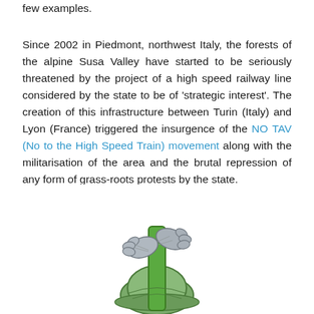few examples.
Since 2002 in Piedmont, northwest Italy, the forests of the alpine Susa Valley have started to be seriously threatened by the project of a high speed railway line considered by the state to be of 'strategic interest'. The creation of this infrastructure between Turin (Italy) and Lyon (France) triggered the insurgence of the NO TAV (No to the High Speed Train) movement along with the militarisation of the area and the brutal repression of any form of grass-roots protests by the state.
[Figure (illustration): Illustration of hands gripping a green pole or branch with a helmeted figure below, drawn in a sketch/comic style.]